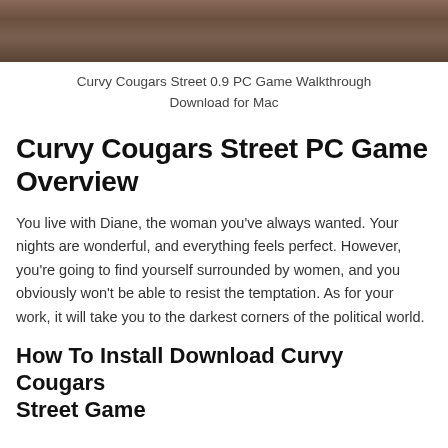[Figure (photo): Cropped photo of people, partially visible at the top of the page]
Curvy Cougars Street 0.9 PC Game Walkthrough Download for Mac
Curvy Cougars Street PC Game Overview
You live with Diane, the woman you’ve always wanted. Your nights are wonderful, and everything feels perfect. However, you’re going to find yourself surrounded by women, and you obviously won’t be able to resist the temptation. As for your work, it will take you to the darkest corners of the political world.
How To Install Download Curvy Cougars Street Game